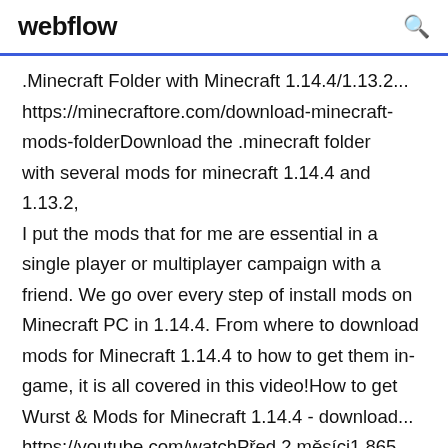webflow
.Minecraft Folder with Minecraft 1.14.4/1.13.2... https://minecraftore.com/download-minecraft-mods-folderDownload the .minecraft folder with several mods for minecraft 1.14.4 and 1.13.2, I put the mods that for me are essential in a single player or multiplayer campaign with a friend. We go over every step of install mods on Minecraft PC in 1.14.4. From where to download mods for Minecraft 1.14.4 to how to get them in-game, it is all covered in this video!How to get Wurst & Mods for Minecraft 1.14.4 - download... https://youtube.com/watchPřed 2 měsíci1 865 zhlédnutíWurst Client 1.14.4 - watch how to install with Fabric mods for Minecraft 1.14.4 This is a tutorial on how to get Wurst Client [all-in-